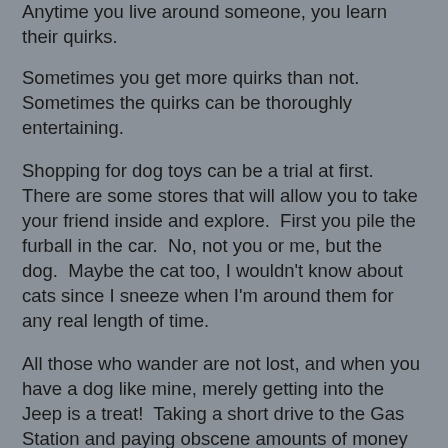Anytime you live around someone, you learn their quirks.
Sometimes you get more quirks than not.  Sometimes the quirks can be thoroughly entertaining.
Shopping for dog toys can be a trial at first.  There are some stores that will allow you to take your friend inside and explore.  First you pile the furball in the car.  No, not you or me, but the dog.  Maybe the cat too, I wouldn't know about cats since I sneeze when I'm around them for any real length of time.
All those who wander are not lost, and when you have a dog like mine, merely getting into the Jeep is a treat!  Taking a short drive to the Gas Station and paying obscene amounts of money just to get down to the shops can be sheer pleasure, and driving to a proper destination is ecstasy.
When you arrive, walk on in and wander the aisles.  Handle the loose toys, your dog will get excited over some toys, and ignore others.
It was that process that I found that my Lottie loves plush